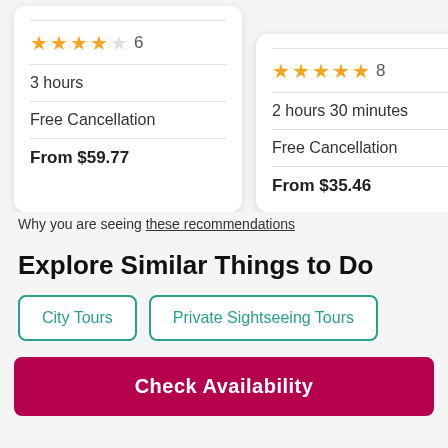3.5 stars, 6 reviews | 3 hours | Free Cancellation | From $59.77
5 stars, 8 reviews | 2 hours 30 minutes | Free Cancellation | From $35.46
Why you are seeing these recommendations
Explore Similar Things to Do
City Tours
Private Sightseeing Tours
Check Availability